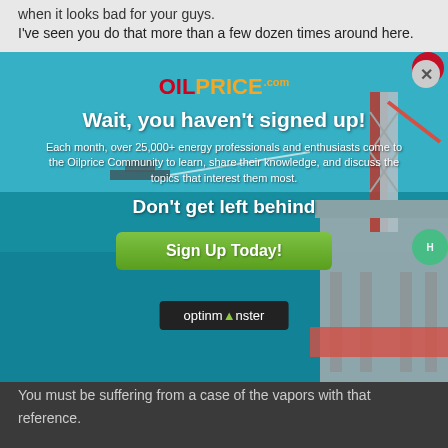when it looks bad for your guys.
I've seen you do that more than a few dozen times around here.
[Figure (infographic): OilPrice.com popup advertisement over an offshore oil rig photo. Contains logo, headline 'Wait, you haven't signed up!', body text about 25,000+ energy professionals, subheadline 'Don't get left behind', and green 'Sign Up Today!' button. Close button (X) in top right.]
Yeah, about 60,000ppm
420ppm is nothing in comparison.
You must be suffering from a case of the vapors with that reference.